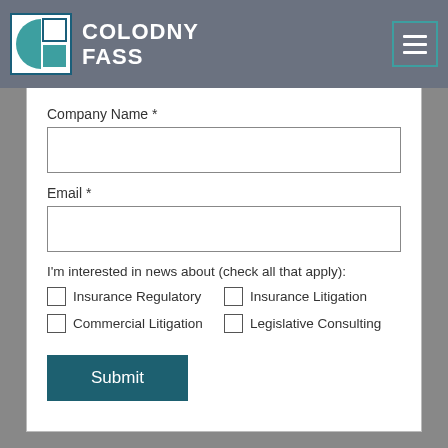COLODNY FASS
Company Name *
Email *
I'm interested in news about (check all that apply):
Insurance Regulatory
Insurance Litigation
Commercial Litigation
Legislative Consulting
Submit